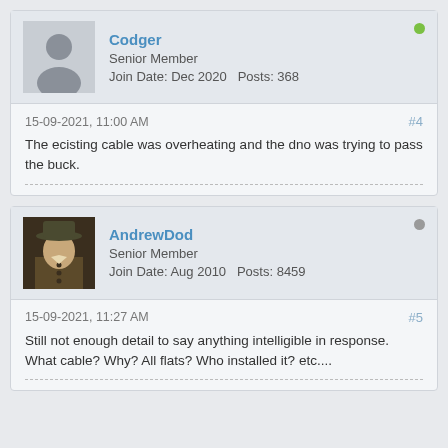Codger
Senior Member
Join Date: Dec 2020   Posts: 368
15-09-2021, 11:00 AM
#4
The ecisting cable was overheating and the dno was trying to pass the buck.
AndrewDod
Senior Member
Join Date: Aug 2010   Posts: 8459
15-09-2021, 11:27 AM
#5
Still not enough detail to say anything intelligible in response. What cable? Why? All flats? Who installed it? etc....